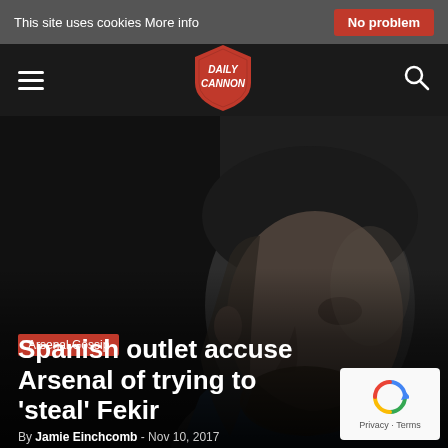This site uses cookies More info | No problem
[Figure (logo): Daily Cannon shield logo in red with white text]
[Figure (photo): Close-up photo of a young man with short hair and beard, dark background]
Arsenal Gossip
Spanish outlet accuse Arsenal of trying to 'steal' Fekir
By Jamie Einchcomb - Nov 10, 2017